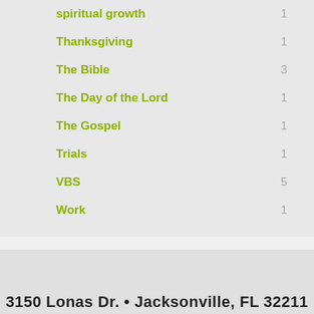spiritual growth  1
Thanksgiving  1
The Bible  3
The Day of the Lord  1
The Gospel  1
Trials  1
VBS  5
Work  1
3150 Lonas Dr. • Jacksonville, FL 32211